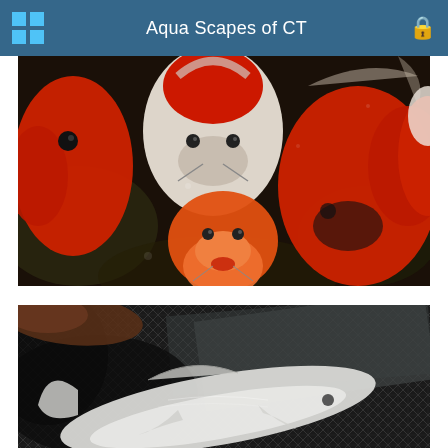Aqua Scapes of CT
[Figure (photo): Close-up photo of multiple koi/goldfish (red, white, and orange) facing the camera underwater against a dark background]
[Figure (photo): Photo of a white/silver fish being held in or near a dark mesh net]